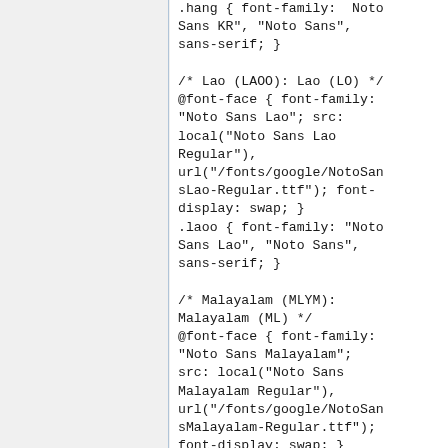.hang { font-family:  Noto Sans KR", "Noto Sans", sans-serif; }

/* Lao (LAOO): Lao (LO) */
@font-face { font-family: "Noto Sans Lao"; src: local("Noto Sans Lao Regular"), url("/fonts/google/NotoSansLao-Regular.ttf"); font-display: swap; }
.laoo { font-family: "Noto Sans Lao", "Noto Sans", sans-serif; }

/* Malayalam (MLYM): Malayalam (ML) */
@font-face { font-family: "Noto Sans Malayalam"; src: local("Noto Sans Malayalam Regular"), url("/fonts/google/NotoSansMalayalam-Regular.ttf"); font-display: swap; }